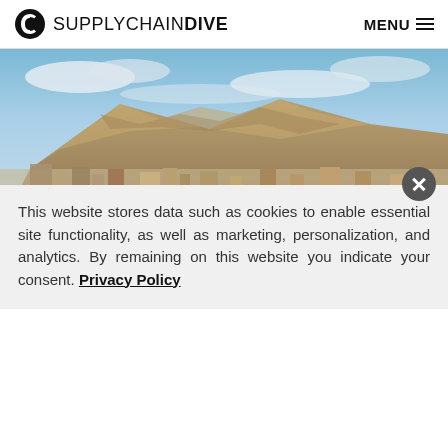SUPPLYCHAINDIVE  MENU
[Figure (photo): Aerial panoramic photo of El Paso city with a large mountain (Franklin Mountain) in the background under a partly cloudy blue sky.]
Public Domain
Dive Brief:
This website stores data such as cookies to enable essential site functionality, as well as marketing, personalization, and analytics. By remaining on this website you indicate your consent. Privacy Policy